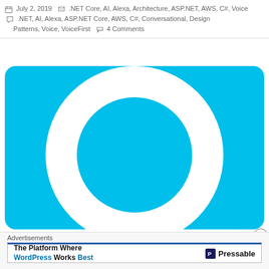July 2, 2019  .NET Core, AI, Alexa, Architecture, ASP.NET, AWS, C#, Voice  .NET, AI, Alexa, ASP.NET Core, AWS, C#, Conversational, Design Patterns, Voice, VoiceFirst  4 Comments
[Figure (logo): Alexa logo — cyan/blue rounded square background with a white ring (open circle) forming the Alexa icon]
Advertisements
The Platform Where WordPress Works Best — Pressable